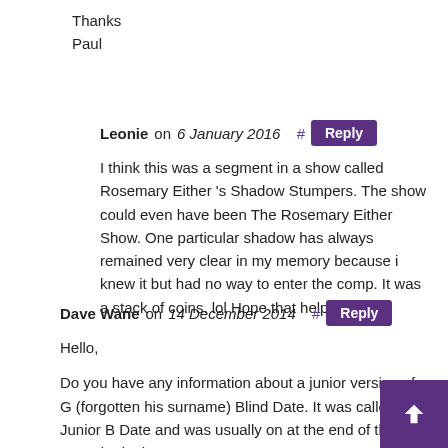Thanks
Paul
Leonie on 6 January 2016  #  Reply
I think this was a segment in a show called Rosemary Either 's Shadow Stumpers. The show could even have been The Rosemary Either Show. One particular shadow has always remained very clear in my memory because i knew it but had no way to enter the comp. It was a stack of coins. lol Hope that helps
Dave Wane on 14 December 2014  #  Reply
Hello,
Do you have any information about a junior version of G (forgotten his surname) Blind Date. It was called Junior B Date and was usually on at the end of the year – maybe in the